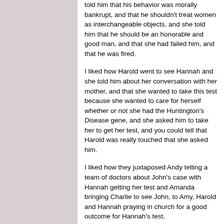told him that his behavior was morally bankrupt, and that he shouldn't treat women as interchangeable objects, and she told him that he should be an honorable and good man, and that she had failed him, and that he was fired.
I liked how Harold went to see Hannah and she told him about her conversation with her mother, and that she wanted to take this test because she wanted to care for herself whether or not she had the Huntington's Disease gene, and she asked him to take her to get her test, and you could tell that Harold was really touched that she asked him.
I liked how they juxtaposed Andy telling a team of doctors about John's case with Hannah getting her test and Amanda bringing Charlie to see John, to Amy, Harold and Hannah praying in church for a good outcome for Hannah's test.
I liked the talk that Amy and Harold had as she told him she was him (which he acknowledged was true) and that maybe she had pushed too hard with Hannah, but she wanted Hannah to live her life. That happy mood was soon broken, however she also started talking about her and...